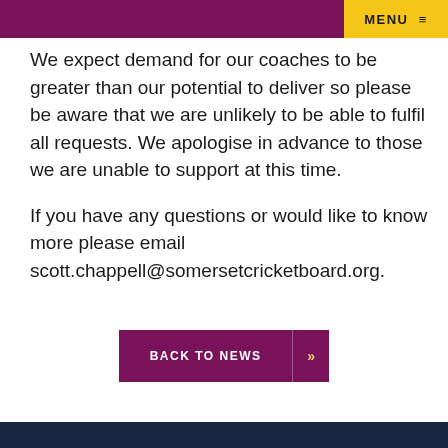MENU ≡
We expect demand for our coaches to be greater than our potential to deliver so please be aware that we are unlikely to be able to fulfil all requests. We apologise in advance to those we are unable to support at this time.
If you have any questions or would like to know more please email scott.chappell@somersetcricketboard.org.
BACK TO NEWS »